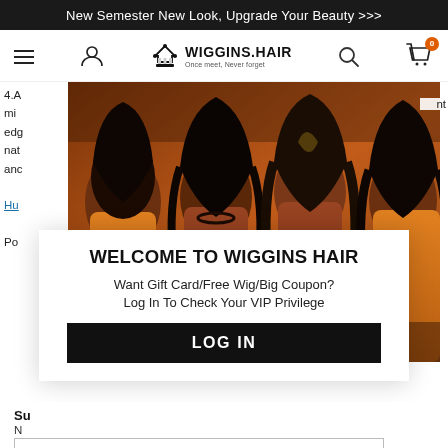New Semester New Look, Upgrade Your Beauty >>>
[Figure (logo): Wiggins Hair logo with crown icon and tagline 'Once meet, Never forget', navigation bar with menu, account, search and cart icons]
[Figure (photo): Four women wearing orange and rust-colored outfits with long dark curly hair extensions, promotional photo for Wiggins Hair]
4.A
mi
edg
nat
anc
nt
Hu
Po
WELCOME TO WIGGINS HAIR
Want Gift Card/Free Wig/Big Coupon?
Log In To Check Your VIP Privilege
LOG IN
Su
N
Er